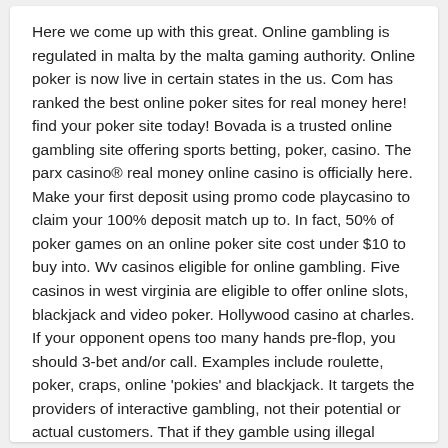Here we come up with this great. Online gambling is regulated in malta by the malta gaming authority. Online poker is now live in certain states in the us. Com has ranked the best online poker sites for real money here! find your poker site today! Bovada is a trusted online gambling site offering sports betting, poker, casino. The parx casino® real money online casino is officially here. Make your first deposit using promo code playcasino to claim your 100% deposit match up to. In fact, 50% of poker games on an online poker site cost under $10 to buy into. Wv casinos eligible for online gambling. Five casinos in west virginia are eligible to offer online slots, blackjack and video poker. Hollywood casino at charles. If your opponent opens too many hands pre-flop, you should 3-bet and/or call. Examples include roulette, poker, craps, online 'pokies' and blackjack. It targets the providers of interactive gambling, not their potential or actual customers. That if they gamble using illegal services, they run a high risk of losing their money. Play online poker for real money safely using our expert guides. The most trusted real money